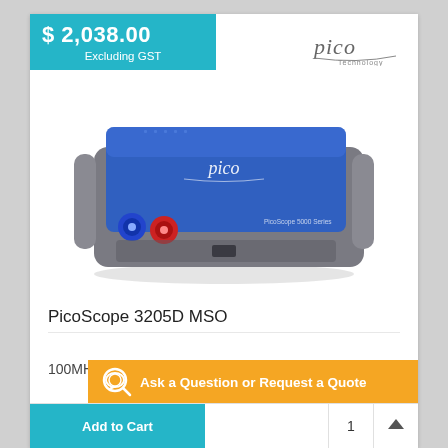$ 2,038.00
Excluding GST
[Figure (logo): Pico Technology logo in gray text]
[Figure (photo): PicoScope 3205D MSO device - a blue and gray USB oscilloscope with BNC connectors]
PicoScope 3205D MSO
100MHz, 2CH, 1GS/s, 16 CH LOGIC, USB HOST
Ask a Question or Request a Quote